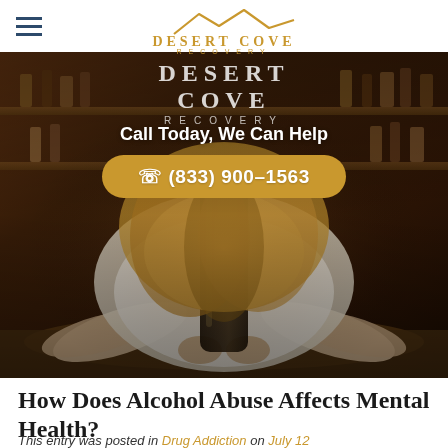Desert Cove Recovery (logo with mountain silhouette)
[Figure (photo): Woman leaning over a bar counter hugging a dark wine bottle, face hidden by blonde hair, bar shelves with bottles in background. Hero image with call-to-action overlay: 'Call Today, We Can Help' and phone button '☎ (833) 900-1563']
How Does Alcohol Abuse Affects Mental Health?
This entry was posted in Drug Addiction on July 12